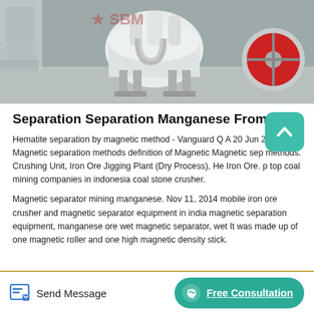[Figure (photo): Industrial mining/crushing machinery in a factory setting — white heavy equipment with red flywheel visible on the right, company logo in background]
Separation Separation Manganese From Ore
Hematite separation by magnetic method - Vanguard Q A 20 Jun 2013 Magnetic separation methods definition of Magnetic Magnetic sep methods. Crushing Unit, Iron Ore Jigging Plant (Dry Process), He Iron Ore. p top coal mining companies in indonesia coal stone crusher.
Magnetic separator mining manganese. Nov 11, 2014 mobile iron ore crusher and magnetic separator equipment in india magnetic separation equipment, manganese ore wet magnetic separator, wet It was made up of one magnetic roller and one high magnetic density stick.
Send Message
Free Consultation